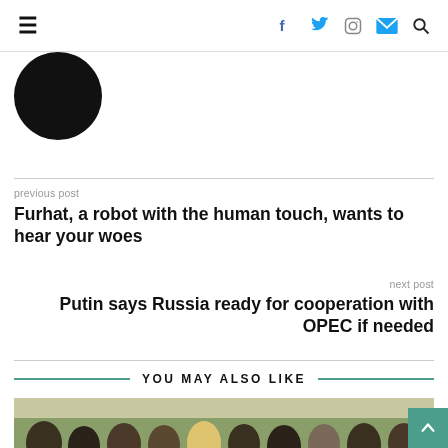≡  f  twitter  instagram  mail  search
[Figure (photo): Black circular profile image, top half visible]
previous post
Furhat, a robot with the human touch, wants to hear your woes
next post
Putin says Russia ready for cooperation with OPEC if needed
YOU MAY ALSO LIKE
[Figure (photo): Crowd of people outdoors, partially visible at bottom of page]